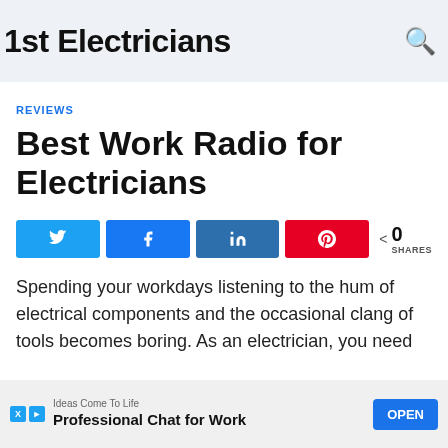1st Electricians
REVIEWS
Best Work Radio for Electricians
Spending your workdays listening to the hum of electrical components and the occasional clang of tools becomes boring. As an electrician, you need
[Figure (screenshot): Advertisement banner: Ideas Come To Life - Professional Chat for Work - OPEN button]